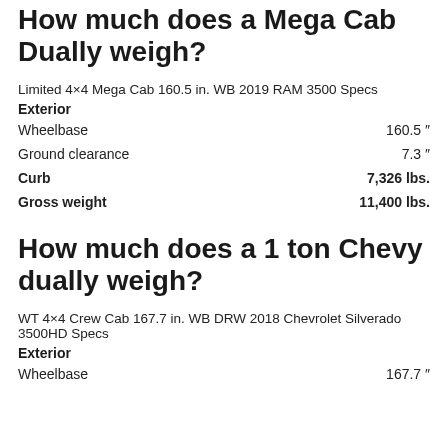How much does a Mega Cab Dually weigh?
Limited 4×4 Mega Cab 160.5 in. WB 2019 RAM 3500 Specs
Exterior
|  |  |
| --- | --- |
| Wheelbase | 160.5 " |
| Ground clearance | 7.3 " |
| Curb | 7,326 lbs. |
| Gross weight | 11,400 lbs. |
How much does a 1 ton Chevy dually weigh?
WT 4×4 Crew Cab 167.7 in. WB DRW 2018 Chevrolet Silverado 3500HD Specs
Exterior
|  |  |
| --- | --- |
| Wheelbase | 167.7 " |